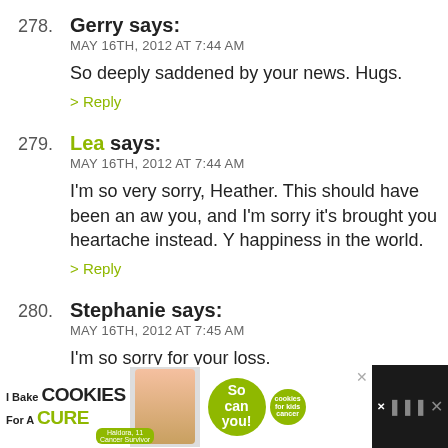278. Gerry says:
MAY 16TH, 2012 AT 7:44 AM
So deeply saddened by your news. Hugs.
> Reply
279. Lea says:
MAY 16TH, 2012 AT 7:44 AM
I'm so very sorry, Heather. This should have been an aw you, and I'm sorry it's brought you heartache instead. Y happiness in the world.
> Reply
280. Stephanie says:
MAY 16TH, 2012 AT 7:45 AM
I'm so sorry for your loss.
> Reply
281. Veronika says:
[Figure (infographic): Advertisement banner at bottom: 'I Bake COOKIES For A CURE' with image of girl, green badge 'So can you!', cookies for kids cancer logo, and close button]